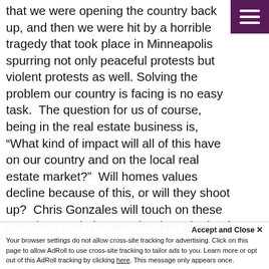that we were opening the country back up, and then we were hit by a horrible tragedy that took place in Minneapolis spurring not only peaceful protests but violent protests as well. Solving the problem our country is facing is no easy task.  The question for us of course, being in the real estate business is, “What kind of impact will all of this have on our country and on the local real estate market?”  Will homes values decline because of this, or will they shoot up?  Chris Gonzales will touch on these questions and give you the data obtained straight from CrMLS reports to share what has taken place with home values, and housing inventory as well as give you an outlook
Accept and Close ×
Your browser settings do not allow cross-site tracking for advertising. Click on this page to allow AdRoll to use cross-site tracking to tailor ads to you. Learn more or opt out of this AdRoll tracking by clicking here. This message only appears once.